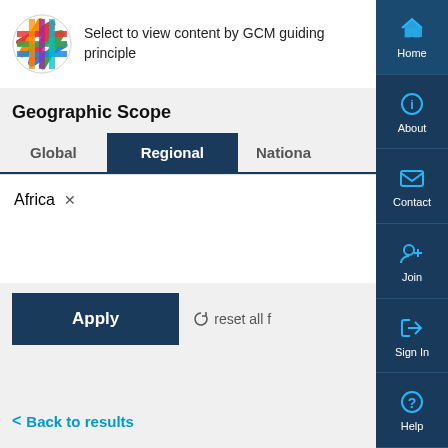[Figure (logo): GCM colorful woven grid circle logo]
Select to view content by GCM guiding principle
Geographic Scope
Global | Regional | National (tabs)
Africa ×
Apply
reset all f
< Back to results
[Figure (screenshot): Right sidebar with Home, About, Contact, Join, Sign In, Help navigation icons]